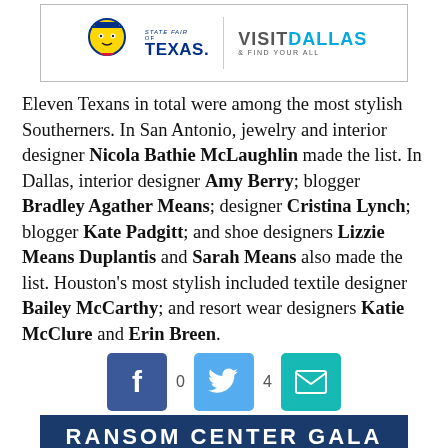[Figure (logo): Advertisement banner with State Fair of Texas logo on the left and Visit Dallas & Find Your All branding on the right, separated by a vertical line]
Eleven Texans in total were among the most stylish Southerners. In San Antonio, jewelry and interior designer Nicola Bathie McLaughlin made the list. In Dallas, interior designer Amy Berry; blogger Bradley Agather Means; designer Cristina Lynch; blogger Kate Padgitt; and shoe designers Lizzie Means Duplantis and Sarah Means also made the list. Houston's most stylish included textile designer Bailey McCarthy; and resort wear designers Katie McClure and Erin Breen.
[Figure (infographic): Social sharing buttons row: Facebook button with count 0, Twitter button with count 4, Email button]
[Figure (photo): Ransom Center Gala banner at the bottom]